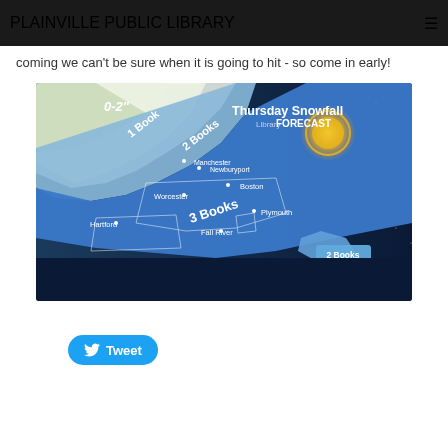PLAINVILLE PUBLIC LIBRARY
coming we can't be sure when it is going to hit - so come in early!
[Figure (map): Thursday Snowfall Forecast map showing New England region with snowfall zones labeled: 0-2in (1 Book), 2 Books zone, 3 Books zone covering Worcester/Hartford/Boston area, and 2 Books zone on Cape Cod. Cities labeled: Manchester, Newburyport, Boston, Worcester, Plymouth, Hartford, Fall River. Library FORECAST branding with sun graphic in upper right.]
Tweet